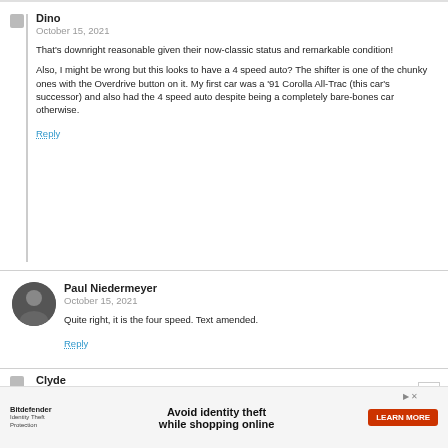Dino
October 15, 2021
That's downright reasonable given their now-classic status and remarkable condition!
Also, I might be wrong but this looks to have a 4 speed auto? The shifter is one of the chunky ones with the Overdrive button on it. My first car was a '91 Corolla All-Trac (this car's successor) and also had the 4 speed auto despite being a completely bare-bones car otherwise.
Reply
Paul Niedermeyer
October 15, 2021
Quite right, it is the four speed. Text amended.
Reply
Clyde
October 15, 2021
If I wasn't on the other side of the country(Charleston SC) I would definitely look at
[Figure (infographic): Advertisement banner for Bitdefender Identity Theft Protection: 'Avoid identity theft while shopping online' with a red LEARN MORE button]